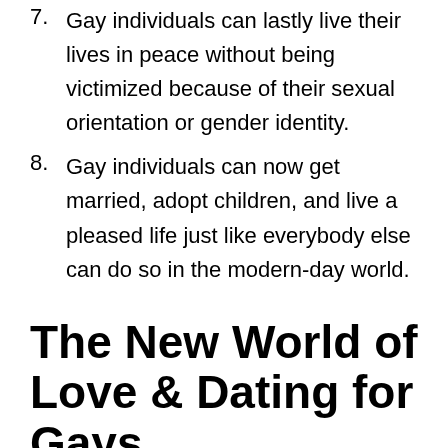7. Gay individuals can lastly live their lives in peace without being victimized because of their sexual orientation or gender identity.
8. Gay individuals can now get married, adopt children, and live a pleased life just like everybody else can do so in the modern-day world.
The New World of Love & Dating for Gays